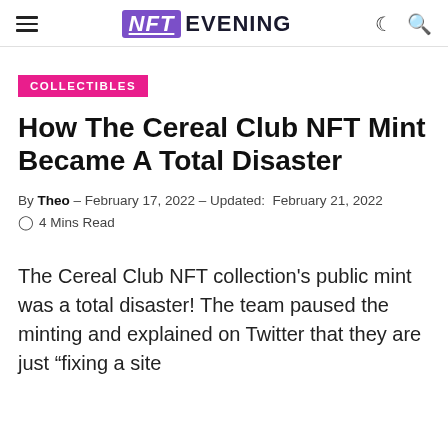NFT EVENING
COLLECTIBLES
How The Cereal Club NFT Mint Became A Total Disaster
By Theo – February 17, 2022 – Updated: February 21, 2022 ○ 4 Mins Read
The Cereal Club NFT collection's public mint was a total disaster! The team paused the minting and explained on Twitter that they are just "fixing a site